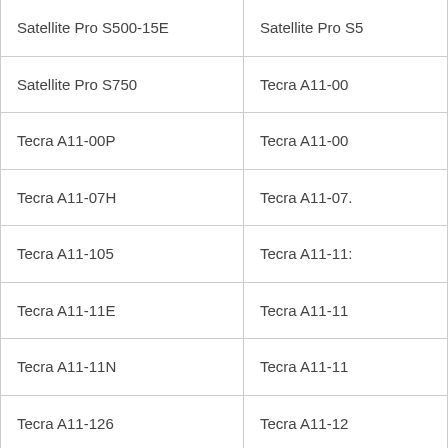| Satellite Pro S500-15E | Satellite Pro S5... |
| Satellite Pro S750 | Tecra A11-00... |
| Tecra A11-00P | Tecra A11-00... |
| Tecra A11-07H | Tecra A11-07... |
| Tecra A11-105 | Tecra A11-11... |
| Tecra A11-11E | Tecra A11-11... |
| Tecra A11-11N | Tecra A11-11... |
| Tecra A11-126 | Tecra A11-12... |